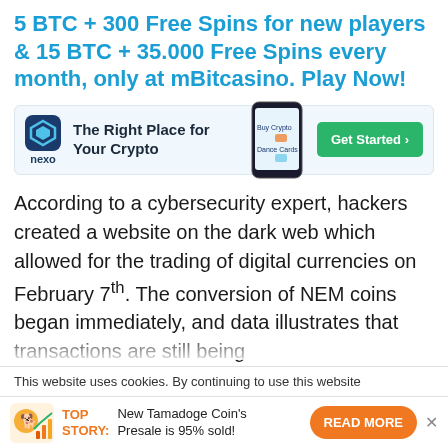5 BTC + 300 Free Spins for new players & 15 BTC + 35.000 Free Spins every month, only at mBitcasino. Play Now!
[Figure (infographic): Nexo advertisement banner: logo with 'nexo' text, tagline 'The Right Place for Your Crypto', phone image, and green 'Get Started >' button]
According to a cybersecurity expert, hackers created a website on the dark web which allowed for the trading of digital currencies on February 7th. The conversion of NEM coins began immediately, and data illustrates that transactions are still being processed on said website — potentially making the
This website uses cookies. By continuing to use this website
TOP STORY: New Tamadoge Coin's Presale is 95% sold!
READ MORE